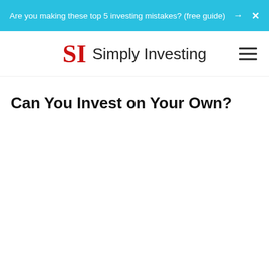Are you making these top 5 investing mistakes? (free guide) → ×
[Figure (logo): Simply Investing logo with red 'SI' serif letters and 'Simply Investing' text, with hamburger menu icon on right]
Can You Invest on Your Own?